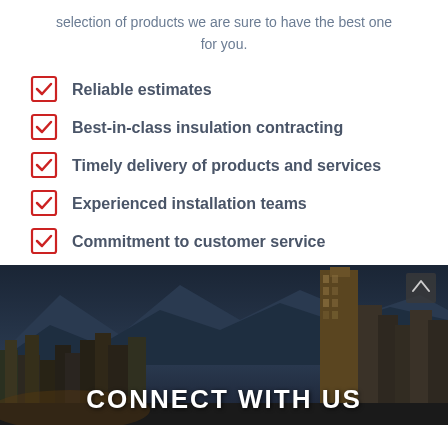selection of products we are sure to have the best one for you.
Reliable estimates
Best-in-class insulation contracting
Timely delivery of products and services
Experienced installation teams
Commitment to customer service
[Figure (photo): City skyline with mountains in background, dark evening/night tone]
CONNECT WITH US